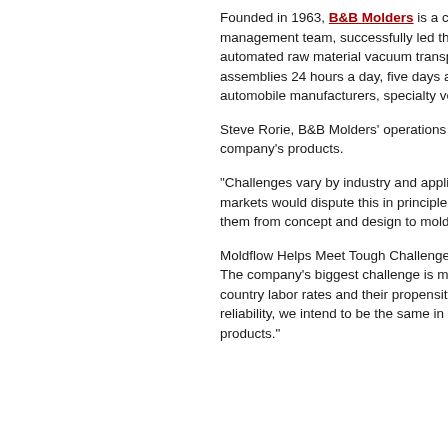Founded in 1963, B&B Molders is a custom, Mishawaka, Indiana, the company is owned management team, successfully led the buy- is a fully integrated company with complete, automated raw material vacuum transport ar wide array of assembly and secondary opera assemblies 24 hours a day, five days a week. B&B Molders serves a range of industries, in automobile manufacturers, specialty vehicle musical instrument manufacturers, military de
Steve Rorie, B&B Molders' operations mana production, engineering, and logistics. He en the company's products.
"Challenges vary by industry and application quality, price, lead time, flexibility, and respo markets would dispute this in principle, but th is followed closely by quality and reliability. F them from concept and design to mold const
Moldflow Helps Meet Tough Challenges
The company's biggest challenge is meeting the problem. "As more and more industries le country labor rates and their propensity to co to be discouraged or intimidated by this conc reliability, we intend to be the same in the are efficiency. These were among the driving fac products."